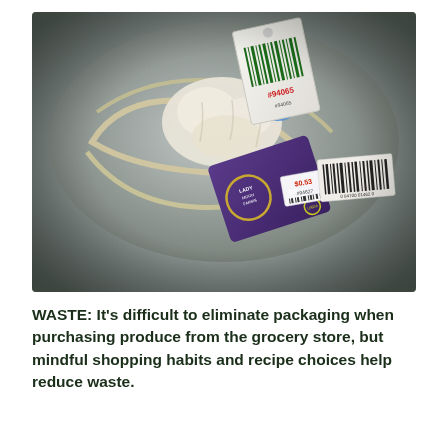[Figure (photo): A stainless steel sink or trash bin containing discarded produce packaging: a banana peel or garlic with rubber bands, a price tag sticker labeled #94065 with a green barcode, and a purple package labeled 'Lady Moon Farms Organic Lacinato' kale with a price tag sticker showing $0.53 and barcode #94627.]
WASTE: It's difficult to eliminate packaging when purchasing produce from the grocery store, but mindful shopping habits and recipe choices help reduce waste.